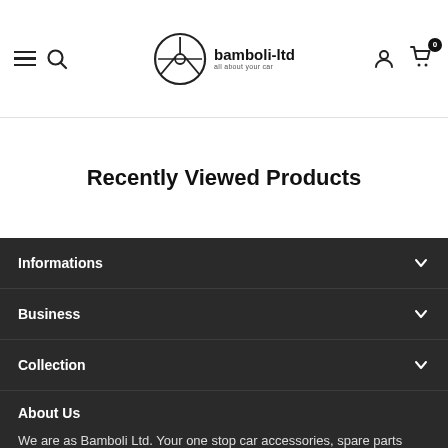[Figure (logo): Bamboli-ltd logo with steering wheel circle icon and text 'bamboli-ltd all about your car']
Recently Viewed Products
Informations
Business
Collection
About Us
We are as Bamboli Ltd. Your one stop car accessories, spare parts shop. Our mission is to offer the highest quality products and services at the most competitive prices. We are here to